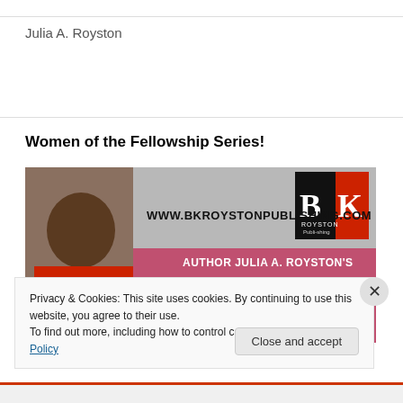Julia A. Royston
Women of the Fellowship Series!
[Figure (photo): Banner image for BK Royston Publishing featuring Author Julia A. Royston's Women of the Fellowship Series. Shows a woman smiling in red, with website www.bkroystonpublishing.com and the BK Royston Publishing logo.]
Privacy & Cookies: This site uses cookies. By continuing to use this website, you agree to their use.
To find out more, including how to control cookies, see here: Cookie Policy